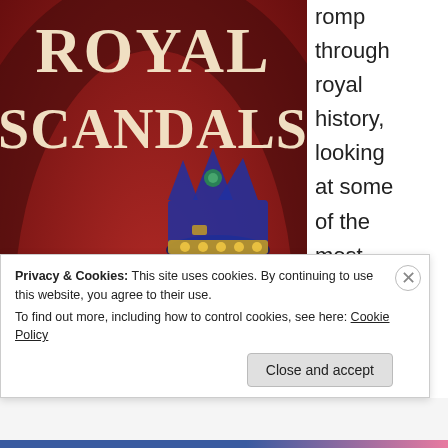[Figure (illustration): Book cover of 'Royal Scandals' with red background, figures in medieval dress, a crown, and a royal figure. Title text reads 'ROYAL SCANDALS' in large serif font.]
romp through royal history, looking at some of the most scandalous royals and
Privacy & Cookies: This site uses cookies. By continuing to use this website, you agree to their use.
To find out more, including how to control cookies, see here: Cookie Policy